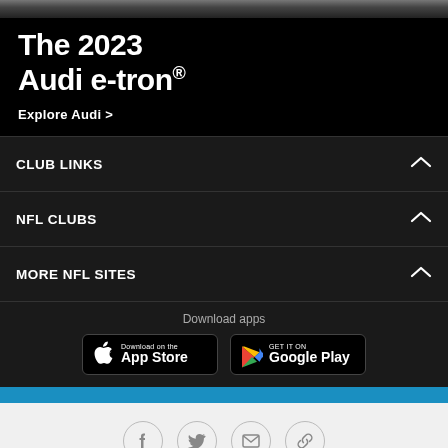[Figure (photo): Audi e-tron advertisement banner with dark background, showing the text 'The 2023 Audi e-tron®' and 'Explore Audi >']
CLUB LINKS
NFL CLUBS
MORE NFL SITES
Download apps
[Figure (screenshot): App Store download button]
[Figure (screenshot): Google Play download button]
[Figure (other): Social sharing icons: Facebook, Twitter, Email, Link]